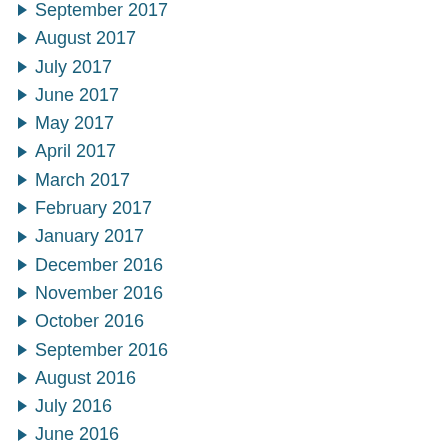September 2017
August 2017
July 2017
June 2017
May 2017
April 2017
March 2017
February 2017
January 2017
December 2016
November 2016
October 2016
September 2016
August 2016
July 2016
June 2016
May 2016
April 2016
March 2016